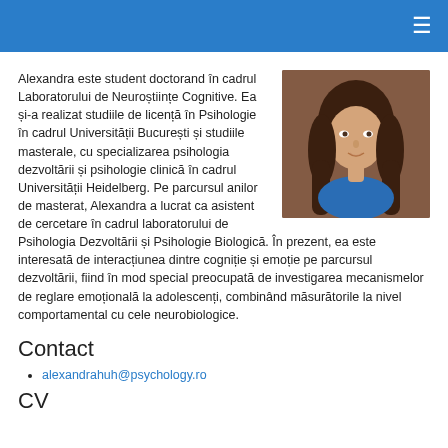≡
Alexandra este student doctorand în cadrul Laboratorului de Neuroștiințe Cognitive. Ea și-a realizat studiile de licență în Psihologie în cadrul Universității București și studiile masterale, cu specializarea psihologia dezvoltării și psihologie clinică în cadrul Universității Heidelberg. Pe parcursul anilor de masterat, Alexandra a lucrat ca asistent de cercetare în cadrul laboratorului de Psihologia Dezvoltării și Psihologie Biologică. În prezent, ea este interesată de interacțiunea dintre cogniție și emoție pe parcursul dezvoltării, fiind în mod special preocupată de investigarea mecanismelor de reglare emoțională la adolescenți, combinând măsurătorile la nivel comportamental cu cele neurobiologice.
[Figure (photo): Portrait photo of Alexandra, a young woman with long brown hair wearing a blue top, photographed against a brick wall background.]
Contact
alexandrahuh@psychology.ro
CV